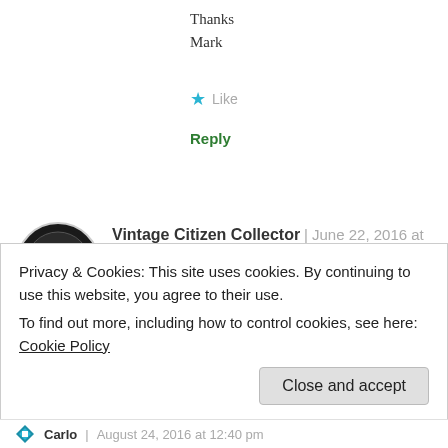Thanks
Mark
★ Like
Reply
Vintage Citizen Collector | June 22, 2016 at 8:48 pm
👍 0 👎 0 ℹ Rate This
Thank you! I will let you know, you are on the list now. 😉
Privacy & Cookies: This site uses cookies. By continuing to use this website, you agree to their use.
To find out more, including how to control cookies, see here: Cookie Policy
Close and accept
Carlo | August 24, 2016 at 12:40 pm